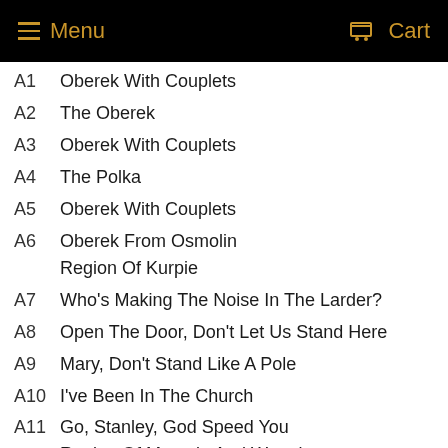Menu   Cart
A1   Oberek With Couplets
A2   The Oberek
A3   Oberek With Couplets
A4   The Polka
A5   Oberek With Couplets
A6   Oberek From Osmolin / Region Of Kurpie
A7   Who's Making The Noise In The Larder?
A8   Open The Door, Don't Let Us Stand Here
A9   Mary, Don't Stand Like A Pole
A10  I've Been In The Church
A11  Go, Stanley, God Speed You / Region Of Masuria And Warmia
A12  Play Me A Szot
A13  The Wolf Is Here And The Goat Is Out
A14  Our Mother Catherine Has Burned Father's Nose
A15  Qadrille / Border Of Ziemia Lubuska And Wielkopolska Regions